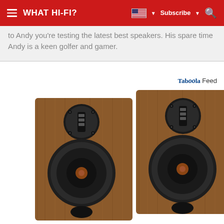WHAT HI-FI?
to Andy you're testing the latest best speakers. His spare time Andy is a keen golfer and gamer.
Taboola Feed
[Figure (photo): Two bookshelf speakers with walnut wood cabinet finish, black woofers with copper dust caps, and ribbon tweeters in circular black baffles, shown side by side on white background.]